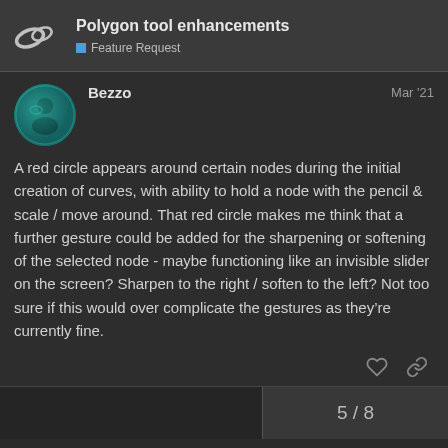Polygon tool enhancements — Feature Request
Bezzo    Mar '21
A red circle appears around certain nodes during the initial creation of curves, with ability to hold a node with the pencil & scale / move around. That red circle makes me think that a further gesture could be added for the sharpening or softening of the selected node - maybe functioning like an invisible slider on the screen? Sharpen to the right / soften to the left? Not too sure if this would over complicate the gestures as they're currently fine.
5 / 8
Suggested Topics
Reply